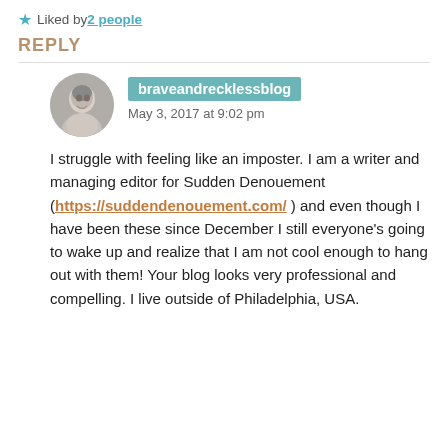★ Liked by 2 people
REPLY
[Figure (photo): Circular avatar photo of a person in black and white]
braveandrecklessblog
May 3, 2017 at 9:02 pm
I struggle with feeling like an imposter. I am a writer and managing editor for Sudden Denouement (https://suddendenouement.com/ ) and even though I have been these since December I still everyone's going to wake up and realize that I am not cool enough to hang out with them! Your blog looks very professional and compelling. I live outside of Philadelphia, USA.